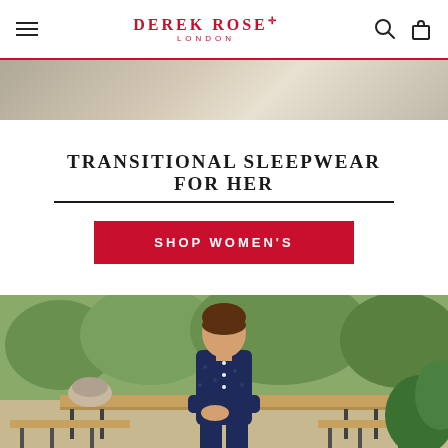DEREK ROSE LONDON — Navigation header with hamburger menu, logo, search and bag icons
[Figure (photo): Partial lifestyle photo at top of page showing a room interior with soft natural light and neutral tones]
TRANSITIONAL SLEEPWEAR FOR HER
SHOP WOMEN'S
[Figure (photo): Lifestyle photo of a young man sitting on a wooden table/bench outdoors in a garden setting, wearing navy blue printed pyjamas with long sleeves and buttons]